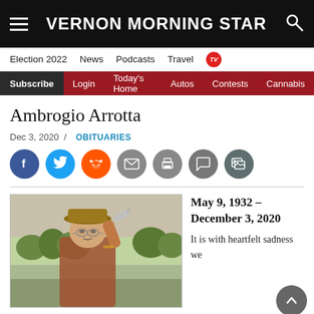VERNON MORNING STAR
Election 2022  News  Podcasts  Travel  TV
Subscribe  Login  Today's Home  Autos  Contests  Cannabis
Ambrogio Arrotta
Dec 3, 2020 / OBITUARIES
[Figure (infographic): Social sharing icons: Facebook, Twitter, Reddit, Email, Print, Comment, Gallery]
[Figure (photo): Black and white photo of an older man wearing a hat and glasses, holding up a fish, outdoors with trees in background]
May 9, 1932 – December 3, 2020
It is with heartfelt sadness we